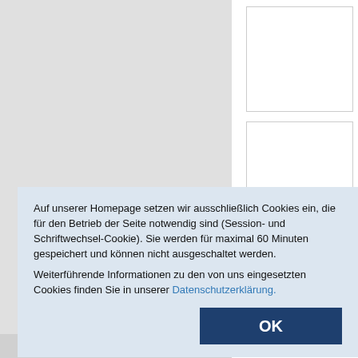[Figure (screenshot): Website screenshot background showing a gray left panel and white right panel with bordered input boxes]
Auf unserer Homepage setzen wir ausschließlich Cookies ein, die für den Betrieb der Seite notwendig sind (Session- und Schriftwechsel-Cookie). Sie werden für maximal 60 Minuten gespeichert und können nicht ausgeschaltet werden.

Weiterführende Informationen zu den von uns eingesetzten Cookies finden Sie in unserer Datenschutzerklärung.
OK
tne
anm
Telefon: +49 (0)69 212